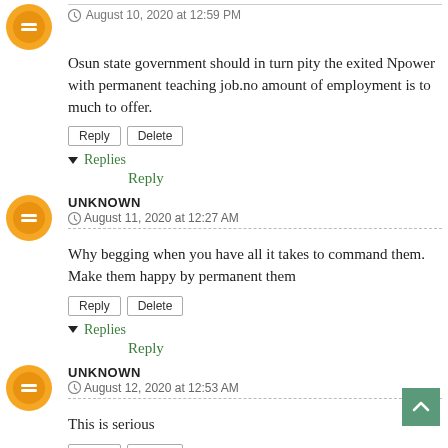August 10, 2020 at 12:59 PM
Osun state government should in turn pity the exited Npower with permanent teaching job.no amount of employment is to much to offer.
UNKNOWN
August 11, 2020 at 12:27 AM
Why begging when you have all it takes to command them. Make them happy by permanent them
UNKNOWN
August 12, 2020 at 12:53 AM
This is serious